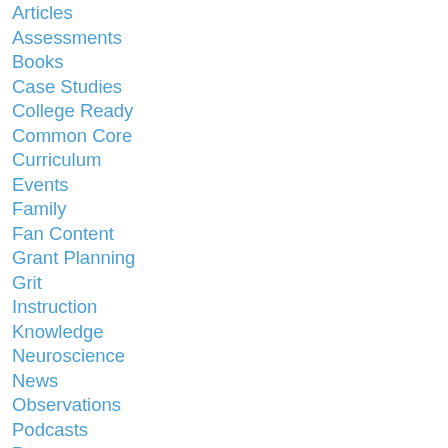Articles
Assessments
Books
Case Studies
College Ready
Common Core
Curriculum
Events
Family
Fan Content
Grant Planning
Grit
Instruction
Knowledge
Neuroscience
News
Observations
Podcasts
Poverty
Practices
Products